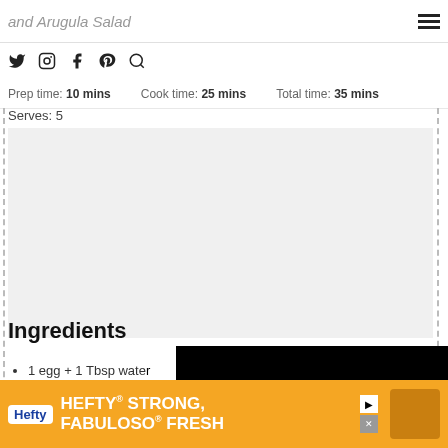and Arugula Salad
Prep time: 10 mins   Cook time: 25 mins   Total time: 35 mins
Serves: 5
[Figure (photo): Large light gray placeholder area for recipe photo, with a black video player overlay on the right side]
Ingredients
1 egg + 1 Tbsp water
½ ...
½ ...
2 ...
[Figure (other): Hefty advertisement banner: HEFTY STRONG, FABULOSO FRESH]